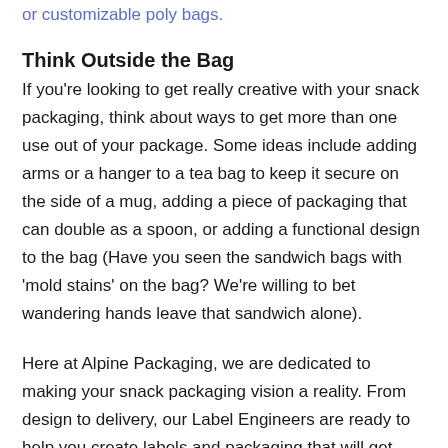or customizable poly bags.
Think Outside the Bag
If you're looking to get really creative with your snack packaging, think about ways to get more than one use out of your package. Some ideas include adding arms or a hanger to a tea bag to keep it secure on the side of a mug, adding a piece of packaging that can double as a spoon, or adding a functional design to the bag (Have you seen the sandwich bags with 'mold stains' on the bag? We're willing to bet wandering hands leave that sandwich alone).
Here at Alpine Packaging, we are dedicated to making your snack packaging vision a reality. From design to delivery, our Label Engineers are ready to help you create labels and packaging that will get your product noticed. Request a quote online today!